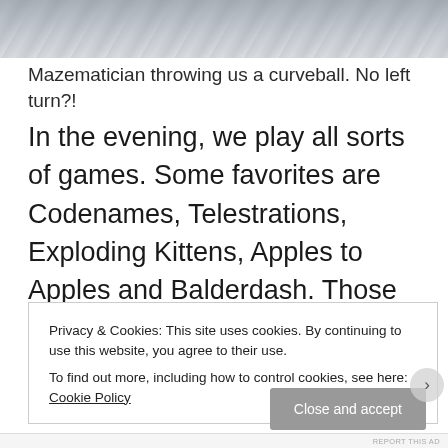[Figure (photo): Top portion of an image, showing a grey textured surface (possibly concrete or sand), partially cut off at the top of the page]
Mazematician throwing us a curveball. No left turn?!
In the evening, we play all sorts of games. Some favorites are Codenames, Telestrations, Exploding Kittens, Apples to Apples and Balderdash. Those with more patience for board games (bored) than I, play Pandemic for hours on end. Our evening Mad Libs sessions on the porch are legendary. Some of our favorite inside
Privacy & Cookies: This site uses cookies. By continuing to use this website, you agree to their use.
To find out more, including how to control cookies, see here: Cookie Policy
Close and accept